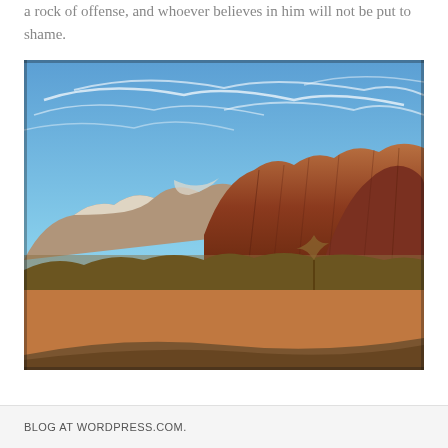a rock of offense, and whoever believes in him will not be put to shame.
[Figure (photo): Photograph of red rock canyon formations (Zion National Park area) with a bright blue sky and wispy white clouds above, red sandstone cliffs in the middle, sparse dry vegetation and red desert floor in the foreground, with a curving road at the bottom edge.]
BLOG AT WORDPRESS.COM.